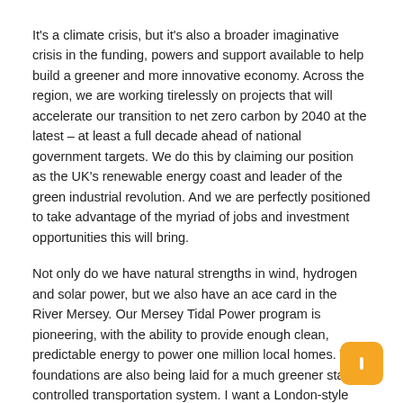It's a climate crisis, but it's also a broader imaginative crisis in the funding, powers and support available to help build a greener and more innovative economy. Across the region, we are working tirelessly on projects that will accelerate our transition to net zero carbon by 2040 at the latest – at least a full decade ahead of national government targets. We do this by claiming our position as the UK's renewable energy coast and leader of the green industrial revolution. And we are perfectly positioned to take advantage of the myriad of jobs and investment opportunities this will bring.
Not only do we have natural strengths in wind, hydrogen and solar power, but we also have an ace card in the River Mersey. Our Mersey Tidal Power program is pioneering, with the ability to provide enough clean, predictable energy to power one million local homes. The foundations are also being laid for a much greener state-controlled transportation system. I want a London-style network, which makes travel faster, cheaper and cleaner to offer a real alternative to the car.
James Coe